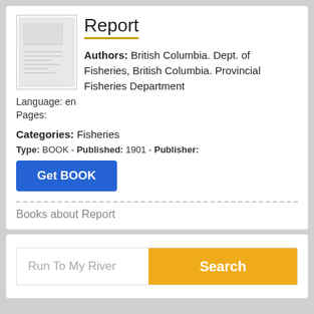[Figure (illustration): Thumbnail of a document/book cover, small scanned pages visible]
Report
Authors: British Columbia. Dept. of Fisheries, British Columbia. Provincial Fisheries Department
Language: en
Pages:
Categories: Fisheries
Type: BOOK - Published: 1901 - Publisher:
Get BOOK
Books about Report
Run To My River
Search